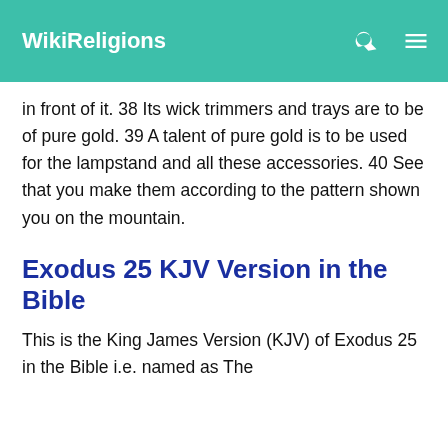WikiReligions
in front of it. 38 Its wick trimmers and trays are to be of pure gold. 39 A talent of pure gold is to be used for the lampstand and all these accessories. 40 See that you make them according to the pattern shown you on the mountain.
Exodus 25 KJV Version in the Bible
This is the King James Version (KJV) of Exodus 25 in the Bible i.e. named as The